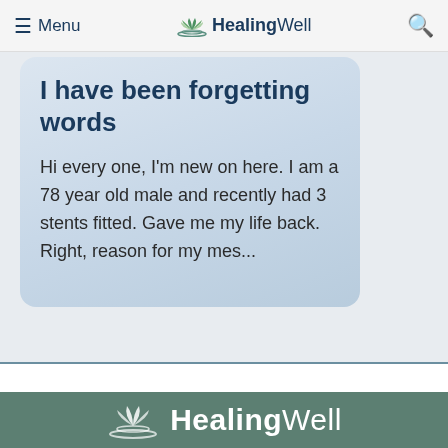≡ Menu  HealingWell  🔍
I have been forgetting words
Hi every one, I'm new on here. I am a 78 year old male and recently had 3 stents fitted. Gave me my life back. Right, reason for my mes...
HealingWell